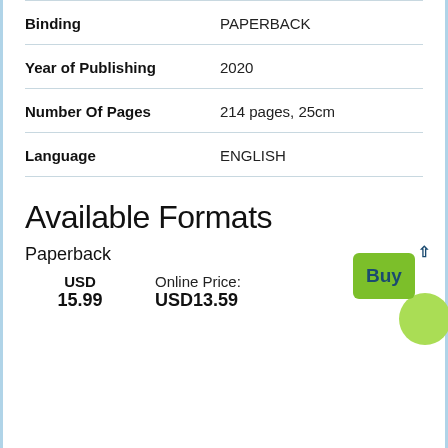| Field | Value |
| --- | --- |
| Binding | PAPERBACK |
| Year of Publishing | 2020 |
| Number Of Pages | 214 pages, 25cm |
| Language | ENGLISH |
Available Formats
Paperback
| Currency | Price | Online Price | Online Amount |
| --- | --- | --- | --- |
| USD | 15.99 | Online Price: | USD13.59 |